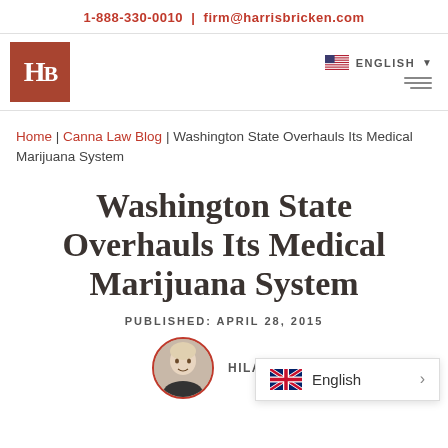1-888-330-0010 | firm@harrisbricken.com
[Figure (logo): Harris Bricken law firm logo: brown/red square with white HB letters]
Home | Canna Law Blog | Washington State Overhauls Its Medical Marijuana System
Washington State Overhauls Its Medical Marijuana System
PUBLISHED: APRIL 28, 2015
HILARY B...
[Figure (infographic): Language selector overlay showing English with UK/US flag]